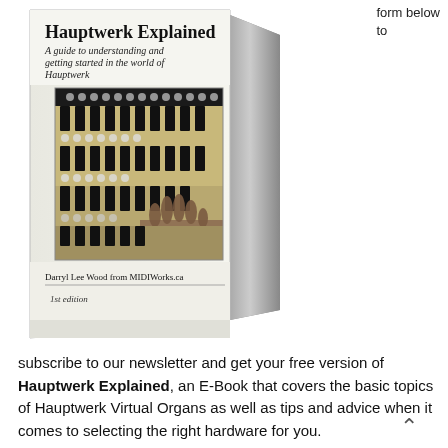form below to
[Figure (illustration): A 3D book cover for 'Hauptwerk Explained: A guide to understanding and getting started in the world of Hauptwerk' by Darryl Lee Wood from MIDIWorks.ca, 1st edition. The cover features a photo of organ keyboards/manuals with a hand playing.]
subscribe to our newsletter and get your free version of Hauptwerk Explained, an E-Book that covers the basic topics of Hauptwerk Virtual Organs as well as tips and advice when it comes to selecting the right hardware for you.